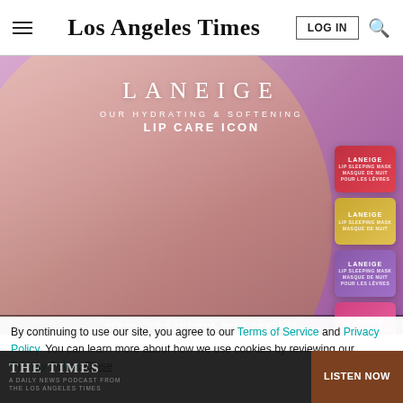Los Angeles Times
[Figure (photo): Laneige lip care advertisement featuring a blonde woman applying lip product, with Laneige branded text 'OUR HYDRATING & SOFTENING LIP CARE ICON' and four product jars stacked on the right side against a purple background]
SCROLL TO CONTINUE WITH CONTENT
By continuing to use our site, you agree to our Terms of Service and Privacy Policy. You can learn more about how we use cookies by reviewing our Privacy Policy. Close